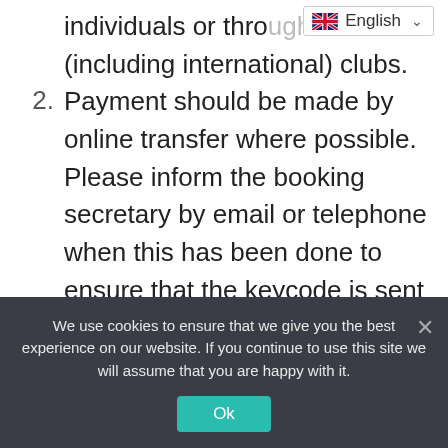[Figure (screenshot): English language selector dropdown overlay in top right corner]
individuals or through (including international) clubs.
Payment should be made by online transfer where possible. Please inform the booking secretary by email or telephone when this has been done to ensure that the keycode is sent out.
The register in the hut should be signed on arrival with dates of stay
We use cookies to ensure that we give you the best experience on our website. If you continue to use this site we will assume that you are happy with it.